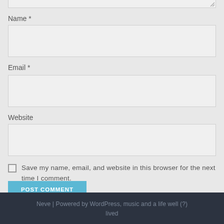Name *
Email *
Website
Save my name, email, and website in this browser for the next time I comment.
POST COMMENT
Neve | Powered by WordPress, music and a life well (?) lived